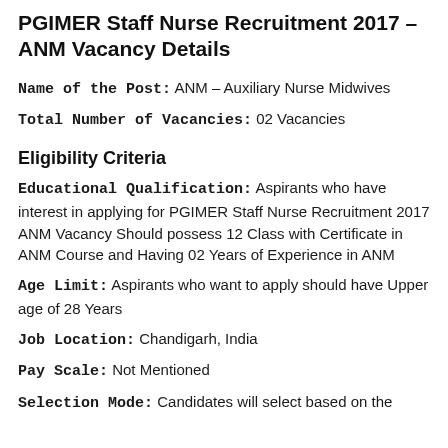PGIMER Staff Nurse Recruitment 2017 – ANM Vacancy Details
Name of the Post: ANM – Auxiliary Nurse Midwives
Total Number of Vacancies: 02 Vacancies
Eligibility Criteria
Educational Qualification: Aspirants who have interest in applying for PGIMER Staff Nurse Recruitment 2017 ANM Vacancy Should possess 12 Class with Certificate in ANM Course and Having 02 Years of Experience in ANM
Age Limit: Aspirants who want to apply should have Upper age of 28 Years
Job Location: Chandigarh, India
Pay Scale: Not Mentioned
Selection Mode: Candidates will select based on the